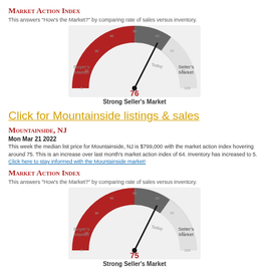Market Action Index
This answers "How's the Market?" by comparing rate of sales versus inventory.
[Figure (other): Gauge/speedometer chart showing Market Action Index value of 76, indicating Strong Seller's Market. The needle points to 76 with labels 'Last Month' and 'Today'. Left side labeled Buyer's Market, right side Seller's Market.]
Strong Seller's Market
Click for Mountainside listings & sales
Mountainside, NJ
Mon Mar 21 2022
This week the median list price for Mountainside, NJ is $799,000 with the market action index hovering around 75. This is an increase over last month's market action index of 64. Inventory has increased to 5. Click here to stay informed with the Mountainside market!
Market Action Index
This answers "How's the Market?" by comparing rate of sales versus inventory.
[Figure (other): Gauge/speedometer chart showing Market Action Index value of 75, indicating Strong Seller's Market. The needle points to 75 with labels 'Last Month' and 'Today'. Left side labeled Buyer's Market, right side Seller's Market.]
Strong Seller's Market